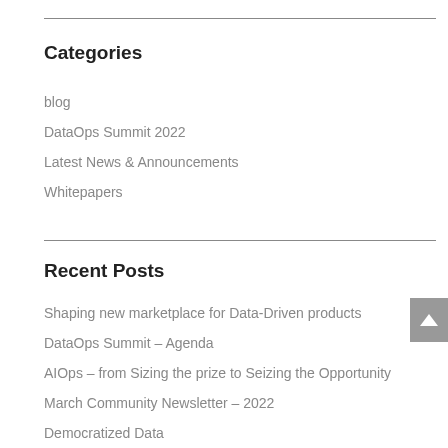Categories
blog
DataOps Summit 2022
Latest News & Announcements
Whitepapers
Recent Posts
Shaping new marketplace for Data-Driven products
DataOps Summit – Agenda
AIOps – from Sizing the prize to Seizing the Opportunity
March Community Newsletter – 2022
Democratized Data